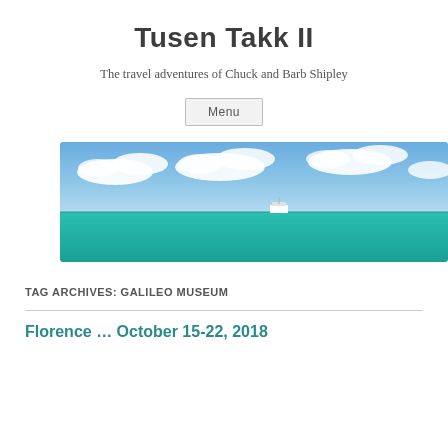Tusen Takk II
The travel adventures of Chuck and Barb Shipley
Menu
[Figure (photo): Panoramic photo of a turquoise sea with a white boat near the horizon, blue sky with white clouds above.]
TAG ARCHIVES: GALILEO MUSEUM
Florence … October 15-22, 2018